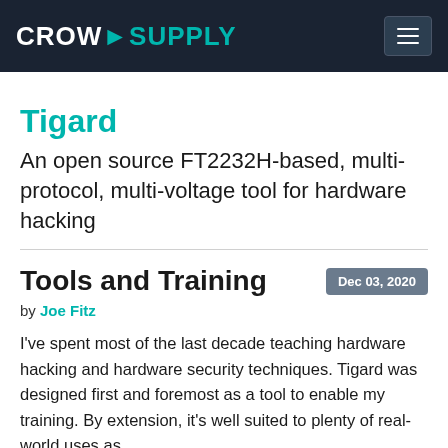CROWD▶SUPPLY
Tigard
An open source FT2232H-based, multi-protocol, multi-voltage tool for hardware hacking
Tools and Training
Dec 03, 2020
by Joe Fitz
I've spent most of the last decade teaching hardware hacking and hardware security techniques. Tigard was designed first and foremost as a tool to enable my training. By extension, it's well suited to plenty of real-world uses as